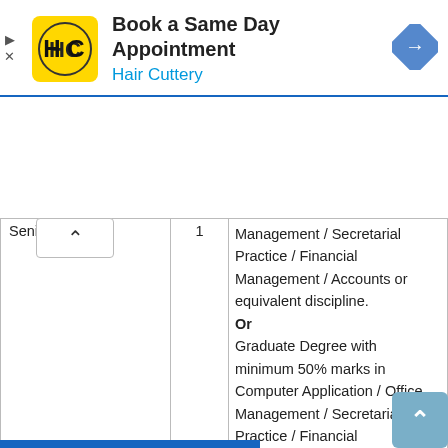[Figure (screenshot): Hair Cuttery advertisement banner: Book a Same Day Appointment]
| Senior Assistant | 1 | Management / Secretarial Practice / Financial Management / Accounts or equivalent discipline.
Or
Graduate Degree with minimum 50% marks in Computer Application / Office Management / Secretarial Practice / Financial Management / Accounts or |